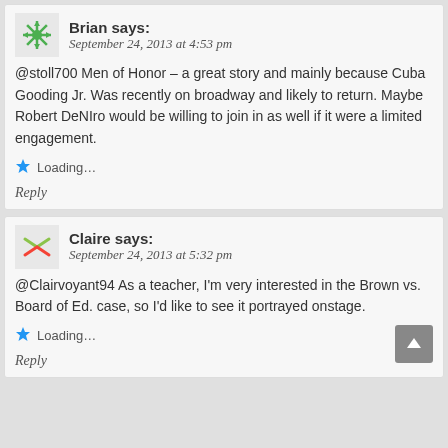Brian says:
September 24, 2013 at 4:53 pm
@stoll700 Men of Honor – a great story and mainly because Cuba Gooding Jr. Was recently on broadway and likely to return. Maybe Robert DeNIro would be willing to join in as well if it were a limited engagement.
Loading...
Reply
Claire says:
September 24, 2013 at 5:32 pm
@Clairvoyant94 As a teacher, I'm very interested in the Brown vs. Board of Ed. case, so I'd like to see it portrayed onstage.
Loading...
Reply